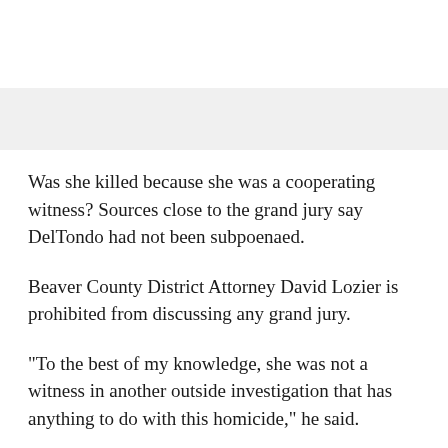Was she killed because she was a cooperating witness? Sources close to the grand jury say DelTondo had not been subpoenaed.
Beaver County District Attorney David Lozier is prohibited from discussing any grand jury.
"To the best of my knowledge, she was not a witness in another outside investigation that has anything to do with this homicide," he said.
Santicola has suggested that the Aliquippa Police are conflicted in this murder investigation and should be